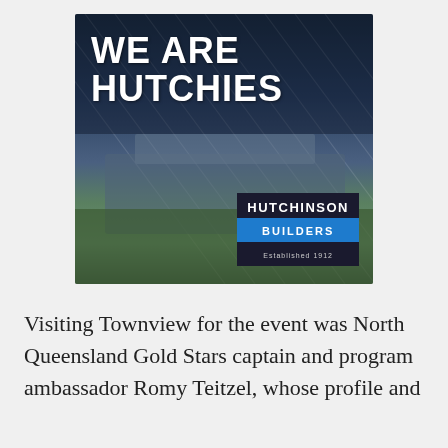[Figure (illustration): Hutchinson Builders advertisement showing an aerial photo of a stadium with the text 'WE ARE HUTCHIES' overlaid in large white bold letters, and the Hutchinson Builders logo (with 'Established 1912') in the bottom right corner.]
Visiting Townview for the event was North Queensland Gold Stars captain and program ambassador Romy Teitzel, whose profile and